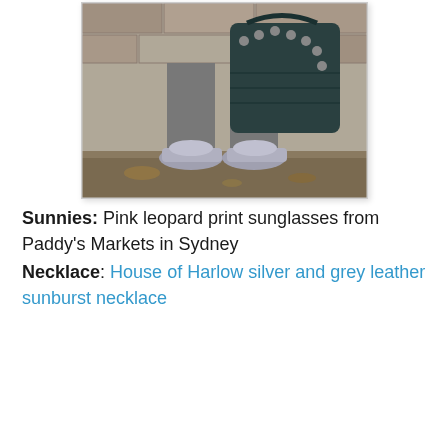[Figure (photo): Close-up photo showing the lower half of a person: grey pants, silver flat shoes, and a dark teal/charcoal leather bag with metal studs, standing on a dirt/leaf ground near a stone wall.]
Sunnies: Pink leopard print sunglasses from Paddy's Markets in Sydney
Necklace: House of Harlow silver and grey leather sunburst necklace